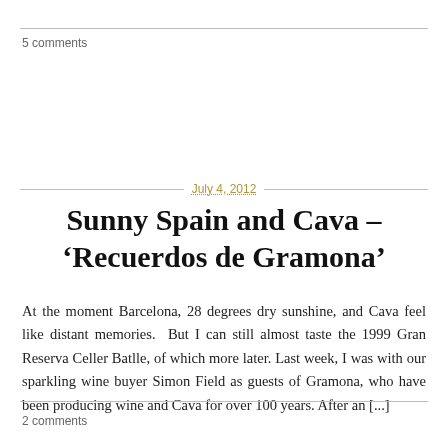5 comments
July 4, 2012
Sunny Spain and Cava – ‘Recuerdos de Gramona’
At the moment Barcelona, 28 degrees dry sunshine, and Cava feel like distant memories.  But I can still almost taste the 1999 Gran Reserva Celler Batlle, of which more later.  Last week, I was with our sparkling wine buyer Simon Field as guests of Gramona, who have been producing wine and Cava for over 100 years. After an [...]
2 comments